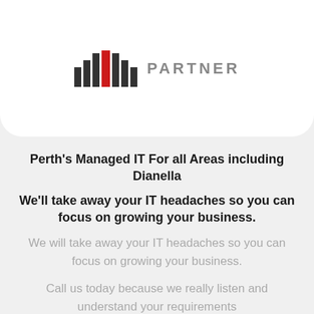[Figure (logo): Logo with vertical bars (gray and red) and text PARTNER]
Perth's Managed IT For all Areas including Dianella
We'll take away your IT headaches so you can focus on growing your business.
We will take away your IT headaches so you can focus on growing your business.
Call us today because we really listen and understand your requirements